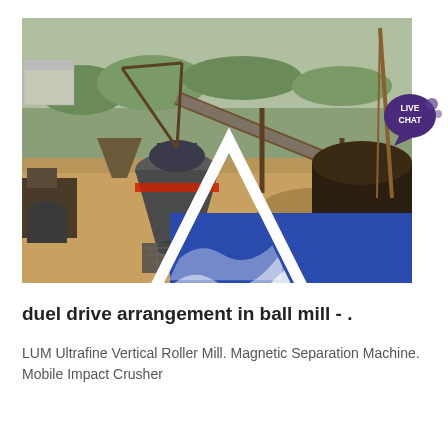[Figure (photo): Aerial view of a mining/crushing equipment facility with conveyor belts, cone crusher, and industrial machinery on a construction site. ACrusher Mining Equipment logo overlaid at bottom center of the photo.]
duel drive arrangement in ball mill - .
LUM Ultrafine Vertical Roller Mill. Magnetic Separation Machine. Mobile Impact Crusher